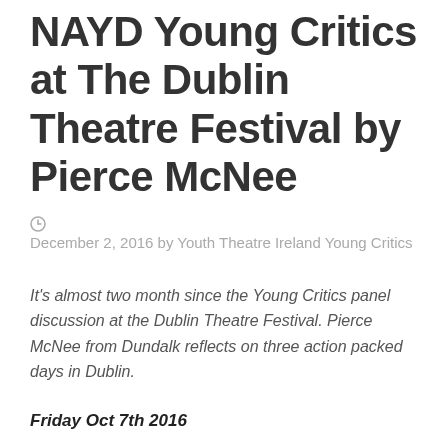NAYD Young Critics at The Dublin Theatre Festival by Pierce McNee
December 2, 2016 by Youth Theatre Ireland Young Critics
It's almost two month since the Young Critics panel discussion at the Dublin Theatre Festival. Pierce McNee from Dundalk reflects on three action packed days in Dublin.
Friday Oct 7th 2016